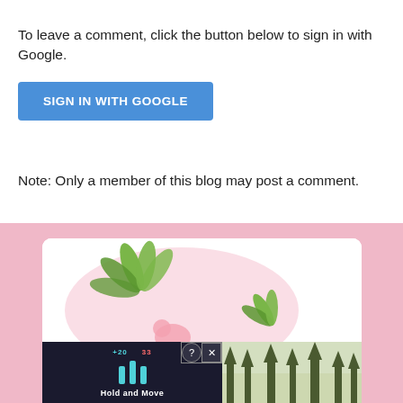To leave a comment, click the button below to sign in with Google.
[Figure (screenshot): Blue 'SIGN IN WITH GOOGLE' button]
Note: Only a member of this blog may post a comment.
[Figure (illustration): Blog sidebar image with pink decorative border and green leaf illustration on white background, partially visible. Below it a partially visible ad banner showing a dark game-style UI with 'Hold and Move' label and trees in background.]